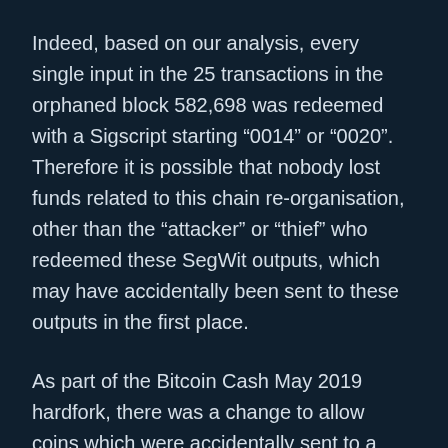Indeed, based on our analysis, every single input in the 25 transactions in the orphaned block 582,698 was redeemed with a Sigscript starting “0014” or “0020”. Therefore it is possible that nobody lost funds related to this chain re-organisation, other than the “attacker” or “thief” who redeemed these SegWit outputs, which may have accidentally been sent to these outputs in the first place.
As part of the Bitcoin Cash May 2019 hardfork, there was a change to allow coins which were accidentally sent to a SegWit address, to be recovered. Therefore, this may have occurred in the incident.